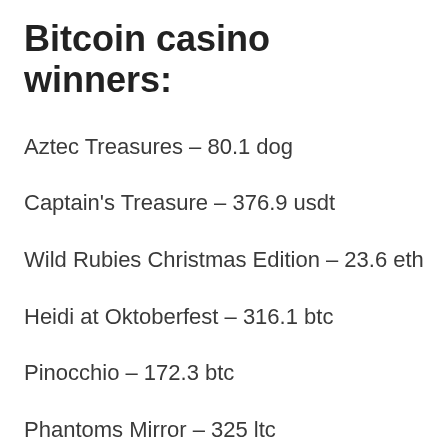Bitcoin casino winners:
Aztec Treasures – 80.1 dog
Captain's Treasure – 376.9 usdt
Wild Rubies Christmas Edition – 23.6 eth
Heidi at Oktoberfest – 316.1 btc
Pinocchio – 172.3 btc
Phantoms Mirror – 325 ltc